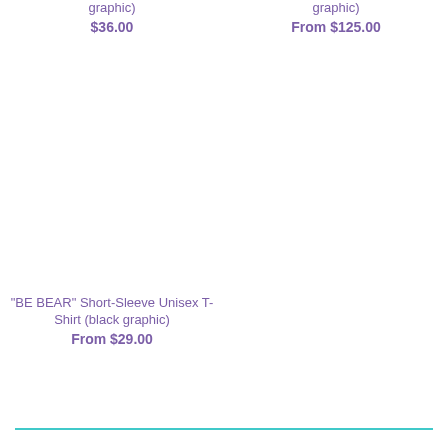graphic)
$36.00
graphic)
From $125.00
"BE BEAR" Short-Sleeve Unisex T-Shirt (black graphic)
From $29.00